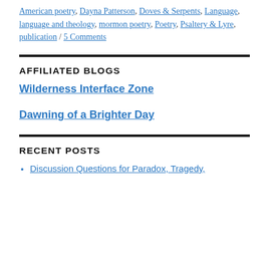American poetry, Dayna Patterson, Doves & Serpents, Language, language and theology, mormon poetry, Poetry, Psaltery & Lyre, publication / 5 Comments
AFFILIATED BLOGS
Wilderness Interface Zone
Dawning of a Brighter Day
RECENT POSTS
Discussion Questions for Paradox, Tragedy,